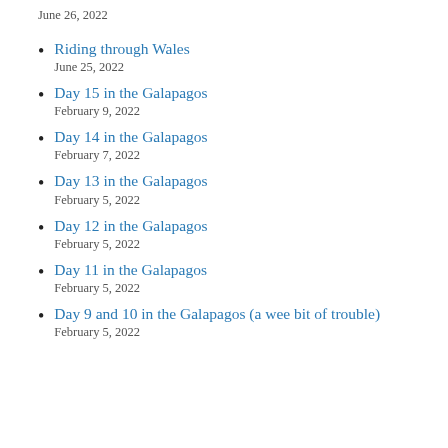June 26, 2022
Riding through Wales
June 25, 2022
Day 15 in the Galapagos
February 9, 2022
Day 14 in the Galapagos
February 7, 2022
Day 13 in the Galapagos
February 5, 2022
Day 12 in the Galapagos
February 5, 2022
Day 11 in the Galapagos
February 5, 2022
Day 9 and 10 in the Galapagos (a wee bit of trouble)
February 5, 2022